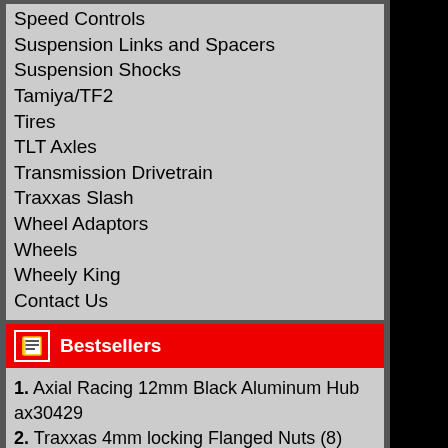Speed Controls
Suspension Links and Spacers
Suspension Shocks
Tamiya/TF2
Tires
TLT Axles
Transmission Drivetrain
Traxxas Slash
Wheel Adaptors
Wheels
Wheely King
Contact Us
Bestsellers
1. Axial Racing 12mm Black Aluminum Hub ax30429
2. Traxxas 4mm locking Flanged Nuts (8) Wheel Nuts
3. 2.2 Wheel widener (4) (Offset: +13mm)
4. Axial Racing Rockster Beadlocks (2) Black
5. Axial Racing Rockster Beadlocks (2) Black Chrome
Manufacturers
Airtronics
Axial
Body Clip
Castle Creations